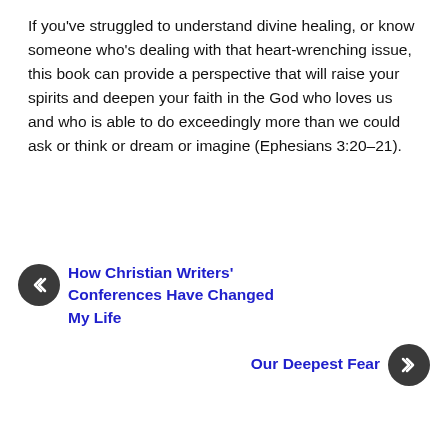If you've struggled to understand divine healing, or know someone who's dealing with that heart-wrenching issue, this book can provide a perspective that will raise your spirits and deepen your faith in the God who loves us and who is able to do exceedingly more than we could ask or think or dream or imagine (Ephesians 3:20–21).
« How Christian Writers' Conferences Have Changed My Life
Our Deepest Fear »